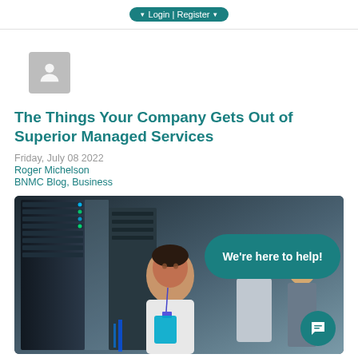Login | Register
[Figure (illustration): Generic user avatar placeholder — grey rounded square with a person silhouette icon]
The Things Your Company Gets Out of Superior Managed Services
Friday, July 08 2022
Roger Michelson
BNMC Blog, Business
[Figure (photo): Photo of IT professionals in a server room / data center. A Black woman in the foreground examining equipment; a blonde woman on the phone in background; other colleagues visible. Overlaid with a teal chat bubble saying 'We're here to help!' and a teal chat icon circle in the bottom right corner.]